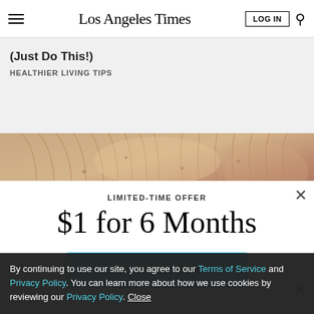Los Angeles Times
(Just Do This!)
HEALTHIER LIVING TIPS
[Figure (photo): Close-up photo of a scallop or clam shell showing ridged texture in warm tan and pink tones]
LIMITED-TIME OFFER
$1 for 6 Months
SUBSCRIBE NOW
By continuing to use our site, you agree to our Terms of Service and Privacy Policy. You can learn more about how we use cookies by reviewing our Privacy Policy. Close